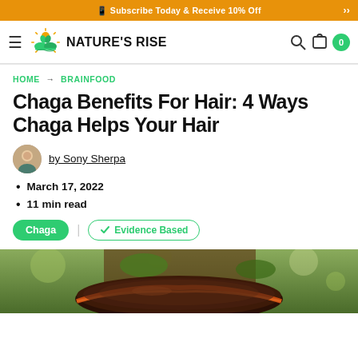Subscribe Today & Receive 10% Off
[Figure (logo): Nature's Rise logo with sun and leaves above green hills, with hamburger menu on the left and search/cart icons on the right]
HOME → BRAINFOOD
Chaga Benefits For Hair: 4 Ways Chaga Helps Your Hair
by Sony Sherpa
March 17, 2022
11 min read
Chaga | Evidence Based
[Figure (photo): Close-up photo of a chaga mushroom growing on a tree trunk, showing dark brown exterior with orange-red inner layer]